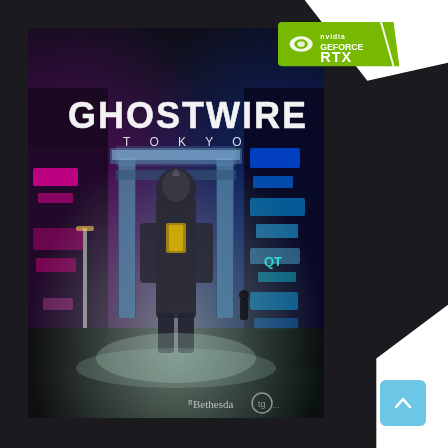[Figure (illustration): Ghostwire Tokyo game cover art showing a masked figure standing in a neon-lit Tokyo street with a torii gate portal behind. Left side has pink/magenta neon lights, right side has blue/cyan neon lights. GHOSTWIRE TOKYO title text at top. Bethesda and Tango Gameworks logos at bottom right. NVIDIA GeForce RTX badge at top right corner.]